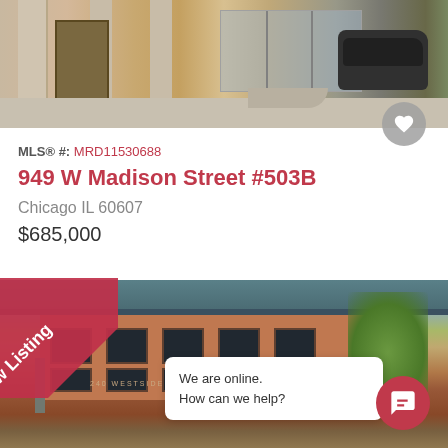[Figure (photo): Exterior photo of a modern brick and glass condominium building with pillar entry and glass storefronts, a black car parked in front, and green trees]
MLS® #: MRD11530688
949 W Madison Street #503B
Chicago IL 60607
$685,000
[Figure (photo): Exterior photo of a red brick multi-story building with green awnings, a street sign, green trees, and a 'New Listing' ribbon banner overlay in the upper left corner]
We are online.
How can we help?